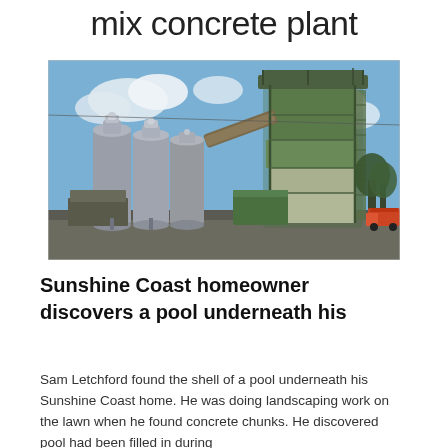mix concrete plant
[Figure (photo): Industrial ready-mix concrete plant with large green metal tower structure and grey cylindrical silos on the left, blue sky with clouds in background, trucks visible on right side.]
Sunshine Coast homeowner discovers a pool underneath his
Sam Letchford found the shell of a pool underneath his Sunshine Coast home. He was doing landscaping work on the lawn when he found concrete chunks. He discovered pool had been filled in during